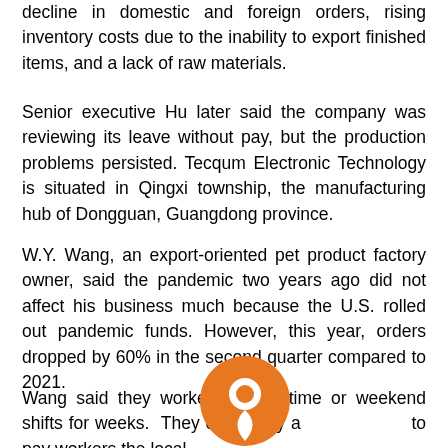decline in domestic and foreign orders, rising inventory costs due to the inability to export finished items, and a lack of raw materials.
Senior executive Hu later said the company was reviewing its leave without pay, but the production problems persisted. Tecqum Electronic Technology is situated in Qingxi township, the manufacturing hub of Dongguan, Guangdong province.
W.Y. Wang, an export-oriented pet product factory owner, said the pandemic two years ago did not affect his business much because the U.S. rolled out pandemic funds. However, this year, orders dropped by 60% in the second quarter compared to 2021.
Wang said they worked no overtime or weekend shifts for weeks. They could only a to pay workers the local minimum wage, monthly around $300 to $450...
[Figure (logo): Orange circular logo with a white location pin icon in the center]